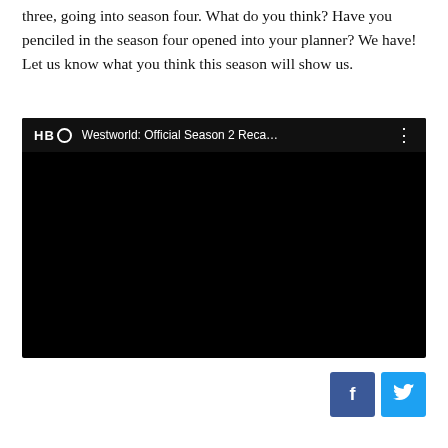three, going into season four. What do you think? Have you penciled in the season four opened into your planner? We have! Let us know what you think this season will show us.
[Figure (screenshot): Embedded YouTube-style video player with black background showing HBO Westworld: Official Season 2 Reca... title in the top bar with HBO logo and three-dot menu icon]
[Figure (infographic): Social sharing buttons: Facebook (blue, f icon) and Twitter (cyan, bird icon)]